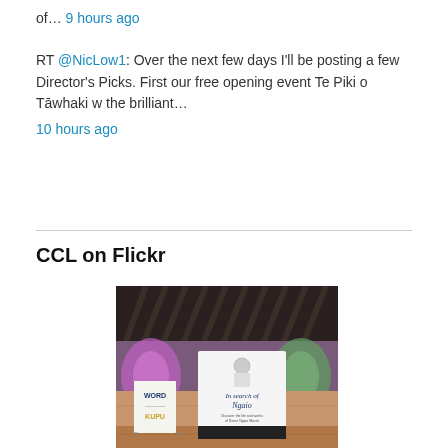of… 9 hours ago
RT @NicLow1: Over the next few days I'll be posting a few Director's Picks. First our free opening event Te Piki o Tāwhaki w the brilliant… 10 hours ago
CCL on Flickr
[Figure (photo): Interior of a library or event space showing two exhibition banners. One banner reads 'In search of Ngaio' with an illustration and subtext 'Discover the life and works of Dame Ngaio Marsh'. Another smaller A-frame sign reads 'WORD' and 'KUPU'. The background features wooden slatted ceiling and Māori-inspired mural artwork.]